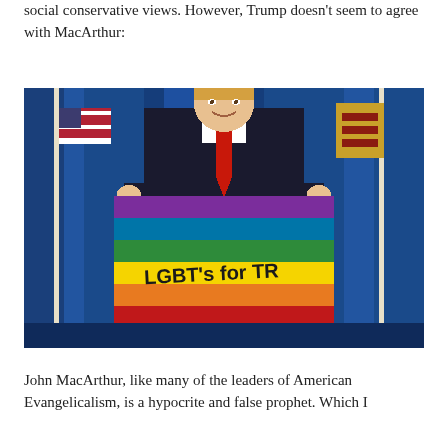social conservative views. However, Trump doesn't seem to agree with MacArthur:
[Figure (photo): A man in a dark suit and red tie holding up a rainbow Pride flag with text 'LGBT's for TR[ump]' written on it, standing in front of blue curtains and US flags.]
John MacArthur, like many of the leaders of American Evangelicalism, is a hypocrite and false prophet. Which I